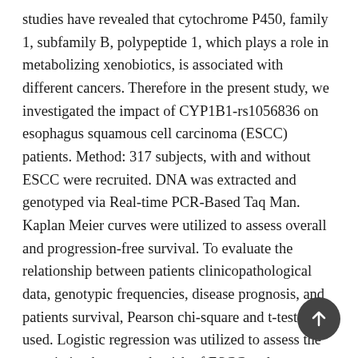studies have revealed that cytochrome P450, family 1, subfamily B, polypeptide 1, which plays a role in metabolizing xenobiotics, is associated with different cancers. Therefore in the present study, we investigated the impact of CYP1B1-rs1056836 on esophagus squamous cell carcinoma (ESCC) patients. Method: 317 subjects, with and without ESCC were recruited. DNA was extracted and genotyped via Real-time PCR-Based Taq Man. Kaplan Meier curves were utilized to assess overall and progression-free survival. To evaluate the relationship between patients clinicopathological data, genotypic frequencies, disease prognosis, and patients survival, Pearson chi-square and t-test were used. Logistic regression was utilized to assess the association between the risk of ESCC and genotypes. Results: the genotypic frequency for GG, GC, and CC are respectively 58.6% , 29.8%, 11.5% in the healthy group and 51.8%, 36.14% and